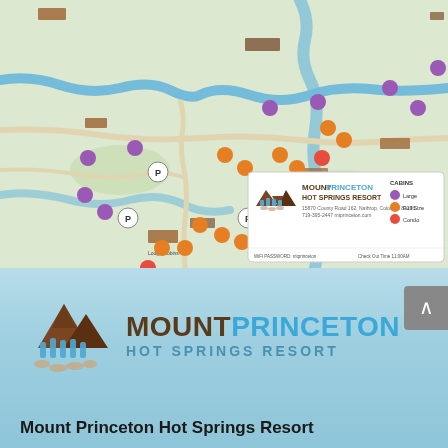[Figure (map): Resort property map of Mount Princeton Hot Springs Resort showing cabin locations marked with colored dots (purple=Large, orange=Full Size, red=Condo), roads, river, parking areas, and facilities including Lodge, Pavilion, Front Desk, Spa/Club, Cascading Hot Springs Pool, Creekside Bath House, and conference areas. Legend box shows resort logo, address (15870 County Road 162, Nathrop, Colorado 81236, 719-395-2447), cabin color key, WiFi password (mtprinceton), and Check Out Time 11:00AM.]
[Figure (logo): Mount Princeton Hot Springs Resort logo: brown mountain silhouette with blue water/steam rising, stepping stones below. Text: MOUNT (brown bold) PRINCETON (blue bold) / HOT SPRINGS RESORT (blue bold, smaller)]
Mount Princeton Hot Springs Resort